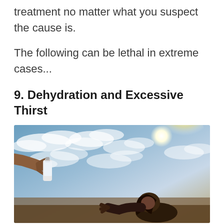treatment no matter what you suspect the cause is.
The following can be lethal in extreme cases...
9. Dehydration and Excessive Thirst
[Figure (photo): A person reaching desperately toward a hand offering a water bottle, set against a dramatic cloudy sky with bright sunlight, illustrating dehydration and thirst.]